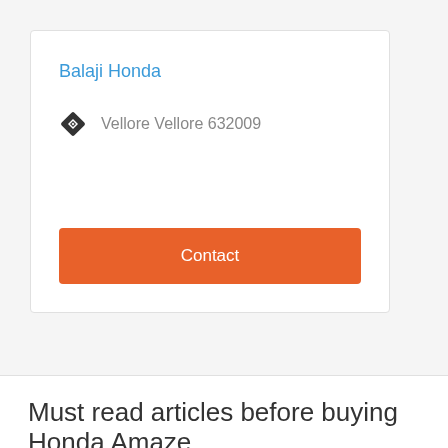Balaji Honda
Vellore Vellore 632009
Contact
Must read articles before buying Honda Amaze